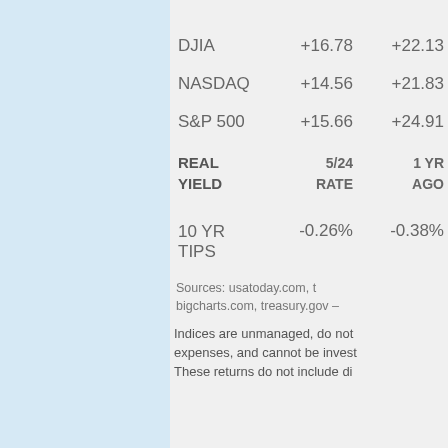|  | 5/24 RATE | 1 YR AGO |
| --- | --- | --- |
| DJIA | +16.78 | +22.13 |
| NASDAQ | +14.56 | +21.83 |
| S&P 500 | +15.66 | +24.91 |
| REAL YIELD |  |  |
| 10 YR TIPS | -0.26% | -0.38% |
Sources: usatoday.com, bigcharts.com, treasury.gov –
Indices are unmanaged, do not expenses, and cannot be invest These returns do not include di